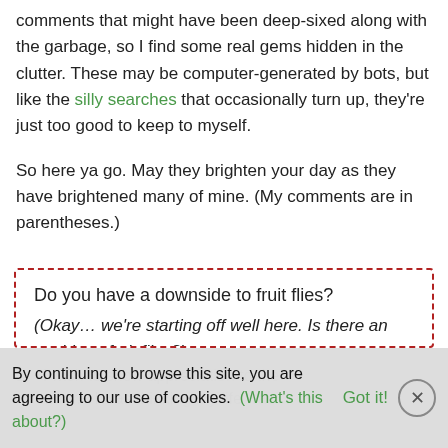comments that might have been deep-sixed along with the garbage, so I find some real gems hidden in the clutter. These may be computer-generated by bots, but like the silly searches that occasionally turn up, they're just too good to keep to myself.
So here ya go. May they brighten your day as they have brightened many of mine. (My comments are in parentheses.)
Do you have a downside to fruit flies? (Okay… we're starting off well here. Is there an upside to fruit flies?)
By continuing to browse this site, you are agreeing to our use of cookies. (What's this about?) Got it!